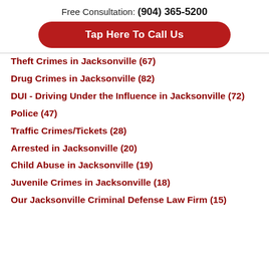Free Consultation: (904) 365-5200
[Figure (other): Red rounded button with white text: Tap Here To Call Us]
Theft Crimes in Jacksonville (67)
Drug Crimes in Jacksonville (82)
DUI - Driving Under the Influence in Jacksonville (72)
Police (47)
Traffic Crimes/Tickets (28)
Arrested in Jacksonville (20)
Child Abuse in Jacksonville (19)
Juvenile Crimes in Jacksonville (18)
Our Jacksonville Criminal Defense Law Firm (15)